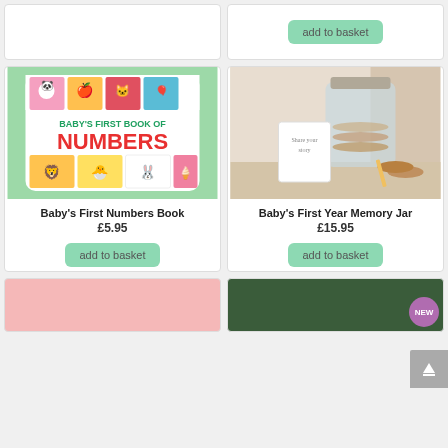[Figure (photo): Partial product card top left - cropped, no visible image]
[Figure (photo): Partial product card top right with green 'add to basket' button visible]
[Figure (photo): Baby's First Numbers Book - colorful children's book cover with animals and the text BABY'S FIRST BOOK OF NUMBERS on green background]
Baby's First Numbers Book
£5.95
add to basket
[Figure (photo): Baby's First Year Memory Jar - glass mason jar with wooden discs and a card that says 'Share your story' on a beige background]
Baby's First Year Memory Jar
£15.95
add to basket
[Figure (photo): Partial bottom left product card - pink/light red background, partially cropped]
[Figure (photo): Partial bottom right product card - dark green background with NEW purple badge]